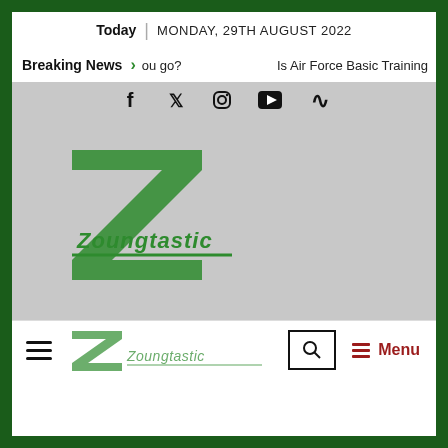Today | MONDAY, 29TH AUGUST 2022
Breaking News > ou go? Is Air Force Basic Training
[Figure (screenshot): Social media icons: Facebook, Twitter, Instagram, YouTube, RSS feed]
[Figure (logo): Zoungtastic logo - green Z shape with text 'Zoungtastic']
[Figure (screenshot): Navigation bar with hamburger menu, Zoungtastic logo, search icon, and Menu button]